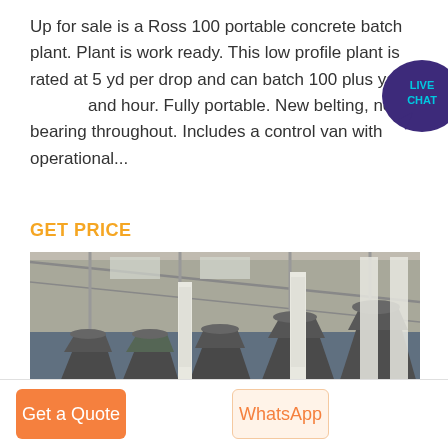Up for sale is a Ross 100 portable concrete batch plant. Plant is work ready. This low profile plant is rated at 5 yd per drop and can batch 100 plus yards and hour. Fully portable. New belting, new bearing throughout. Includes a control van with operational...
[Figure (logo): Live Chat badge - circular dark blue speech bubble with LIVE CHAT text in white]
GET PRICE
[Figure (photo): Interior of industrial warehouse showing multiple large grey cone-crusher machines lined up in a row on a concrete floor, with steel roof structure and columns visible.]
Get a Quote
WhatsApp